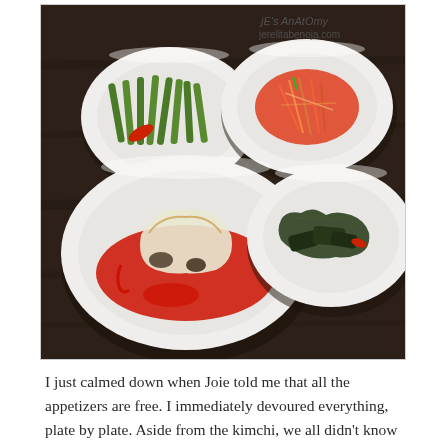[Figure (photo): Four white bowls of Korean banchan (appetizers) on a dark wooden table: top left has green beans/leeks with red pepper garnish, top right has spicy shredded vegetables in red sauce, bottom left has kimchi in red sauce, bottom right has dark pickled vegetables. Watermark reads 'jE's AnAtOmy jerelitabenoja.com' in top right corner.]
I just calmed down when Joie told me that all the appetizers are free. I immediately devoured everything, plate by plate. Aside from the kimchi, we all didn't know what we were eating. I specifically loved the leeks (or was it green onions) pancakes. I also liked the tofu with the spicy dip on the side.